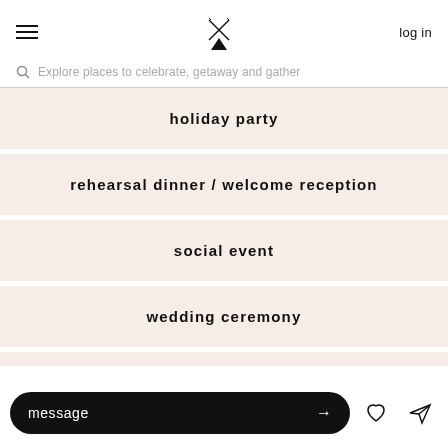log in
Explore places to celebrate, getaway and gather
holiday party
rehearsal dinner / welcome reception
social event
wedding ceremony
message